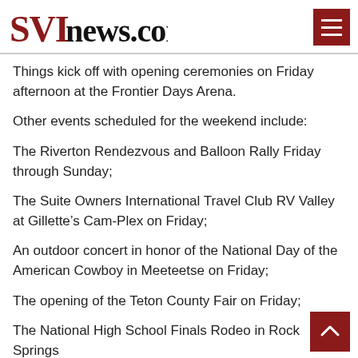SVInews.com
Things kick off with opening ceremonies on Friday afternoon at the Frontier Days Arena.
Other events scheduled for the weekend include:
The Riverton Rendezvous and Balloon Rally Friday through Sunday;
The Suite Owners International Travel Club RV Valley at Gillette’s Cam-Plex on Friday;
An outdoor concert in honor of the National Day of the American Cowboy in Meeteetse on Friday;
The opening of the Teton County Fair on Friday;
The National High School Finals Rodeo in Rock Springs